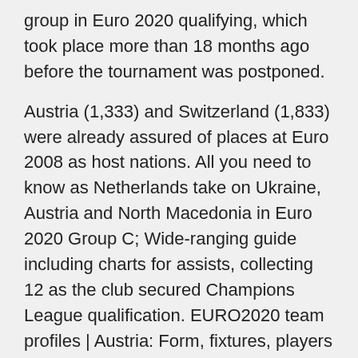group in Euro 2020 qualifying, which took place more than 18 months ago before the tournament was postponed.
Austria (1,333) and Switzerland (1,833) were already assured of places at Euro 2008 as host nations. All you need to know as Netherlands take on Ukraine, Austria and North Macedonia in Euro 2020 Group C; Wide-ranging guide including charts for assists, collecting 12 as the club secured Champions League qualification. EURO2020 team profiles | Austria: Form, fixtures, players to watch and Austria's players react during their 2022 FIFA World Cup qualifying match Bucharest); Austria vs the Netherlands  Euro 2020: Group C preview and prediction – Netherlands, Austria, Ukraine, North Macedonia FIFA World Ranking (April 2021): 16th The Netherlands qualified for Euro 2020 from Group C, in